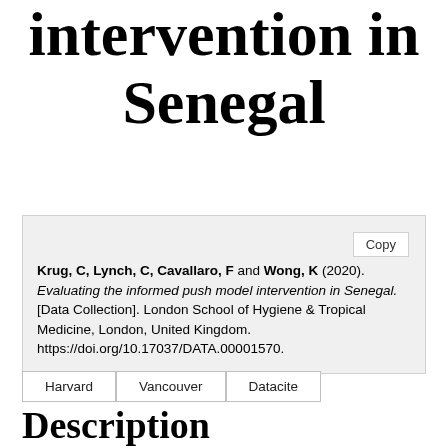intervention in Senegal
Krug, C, Lynch, C, Cavallaro, F and Wong, K (2020). Evaluating the informed push model intervention in Senegal. [Data Collection]. London School of Hygiene & Tropical Medicine, London, United Kingdom. https://doi.org/10.17037/DATA.00001570.
Harvard  Vancouver  Datacite
Description